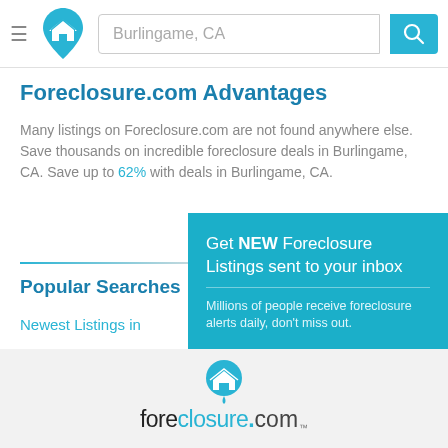[Figure (screenshot): Foreclosure.com website header with hamburger menu, home logo icon, search bar showing 'Burlingame, CA', and teal search button with magnifying glass icon]
Foreclosure.com Advantages
Many listings on Foreclosure.com are not found anywhere else. Save thousands on incredible foreclosure deals in Burlingame, CA. Save up to 62% with deals in Burlingame, CA.
Popular Searches
Newest Listings in
Foreclosures in Bu
Preforeclosures in
[Figure (infographic): Teal popup overlay: 'Get NEW Foreclosure Listings sent to your inbox' with subtext 'Millions of people receive foreclosure alerts daily, don't miss out.' Red 'Signup Here' button and envelope icon. Links: 'No Thanks | Remind Me Later']
[Figure (logo): Foreclosure.com logo in footer with home icon above and wordmark below]